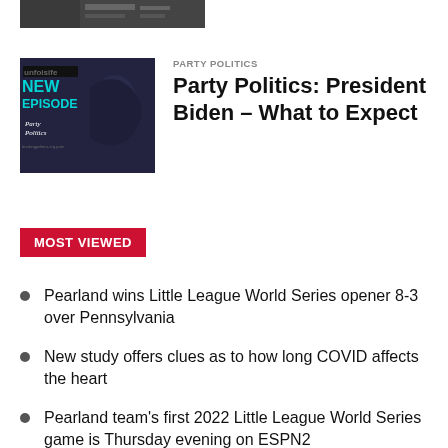[Figure (photo): Partial thumbnail image at the top of the page, showing a dark crowd scene]
PARTY POLITICS
[Figure (photo): Party Politics podcast thumbnail: dark background with 'NEW EPISODE' in teal/cyan text and 'Party Politics' handwritten style logo]
Party Politics: President Biden – What to Expect
MOST VIEWED
Pearland wins Little League World Series opener 8-3 over Pennsylvania
New study offers clues as to how long COVID affects the heart
Pearland team's first 2022 Little League World Series game is Thursday evening on ESPN2